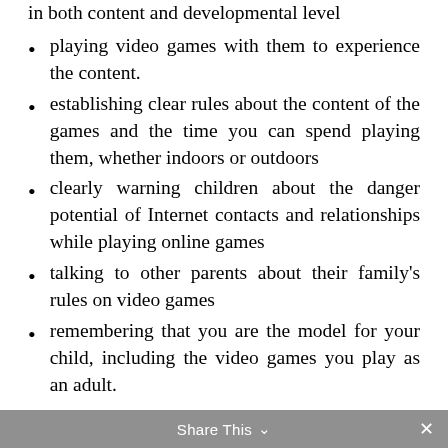in both content and developmental level
playing video games with them to experience the content.
establishing clear rules about the content of the games and the time you can spend playing them, whether indoors or outdoors
clearly warning children about the danger potential of Internet contacts and relationships while playing online games
talking to other parents about their family's rules on video games
remembering that you are the model for your child, including the video games you play as an adult.
Share This